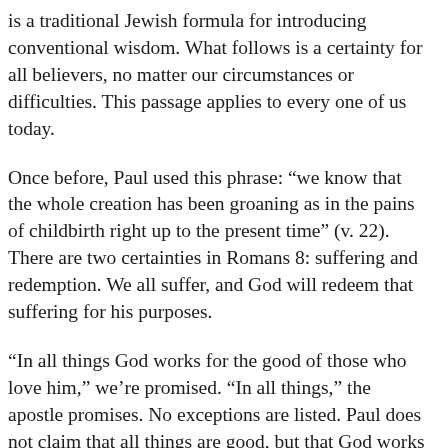is a traditional Jewish formula for introducing conventional wisdom. What follows is a certainty for all believers, no matter our circumstances or difficulties. This passage applies to every one of us today.
Once before, Paul used this phrase: “we know that the whole creation has been groaning as in the pains of childbirth right up to the present time” (v. 22). There are two certainties in Romans 8: suffering and redemption. We all suffer, and God will redeem that suffering for his purposes.
“In all things God works for the good of those who love him,” we’re promised. “In all things,” the apostle promises. No exceptions are listed. Paul does not claim that all things are good, but that God works for good in all things.